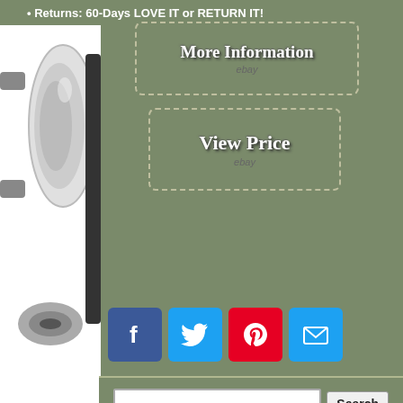Returns: 60-Days LOVE IT or RETURN IT!
[Figure (screenshot): More Information button with dashed border and ebay logo]
[Figure (screenshot): View Price button with dashed border and ebay logo]
[Figure (infographic): Social share icons: Facebook, Twitter, Pinterest, Email]
[Figure (photo): Product photo of a projector headlight on left side strip]
[Figure (screenshot): Search bar with text input and Search button]
projector left driver black crankcase halo right tail crank tube dodge genuine headlight